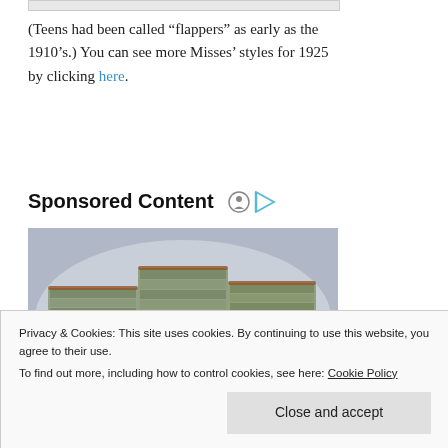[Figure (other): Top partial image bar (cropped image placeholder)]
(Teens had been called “flappers” as early as the 1910’s.) You can see more Misses’ styles for 1925 by clicking here.
Sponsored Content
[Figure (photo): Photograph of large stacks of US dollar bills bundled together in a plastic bag]
Privacy & Cookies: This site uses cookies. By continuing to use this website, you agree to their use.
To find out more, including how to control cookies, see here: Cookie Policy
Close and accept